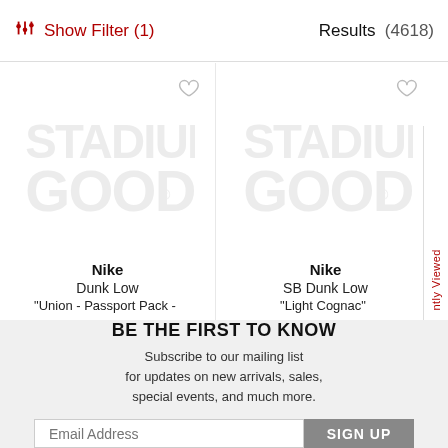Show Filter (1)   Results (4618)
[Figure (screenshot): Product card: Nike Dunk Low Union - Passport Pack - with Stadium Goods watermark logo placeholder image and heart icon]
[Figure (screenshot): Product card: Nike SB Dunk Low Light Cognac with Stadium Goods watermark logo placeholder image and heart icon]
Nike
Dunk Low
"Union - Passport Pack -
Nike
SB Dunk Low
"Light Cognac"
BE THE FIRST TO KNOW
Subscribe to our mailing list
for updates on new arrivals, sales,
special events, and much more.
Email Address   SIGN UP